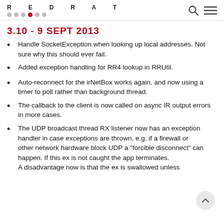RED RAT (logo with dots)
3.10 - 9 SEPT 2013
Handle SocketException when looking up local addresses. Not sure why this should ever fail.
Added exception handling for RR4 lookup in RRUtil.
Auto-reconnect for the irNetBox works again, and now using a timer to poll rather than background thread.
The callback to the client is now called on async IR output errors in more cases.
The UDP broadcast thread RX listener now has an exception handler in case exceptions are thrown, e.g. if a firewall or other network hardware block UDP a "forcible disconnect" can happen. If this ex is not caught the app terminates.
A disadvantage now is that the ex is swallowed unless